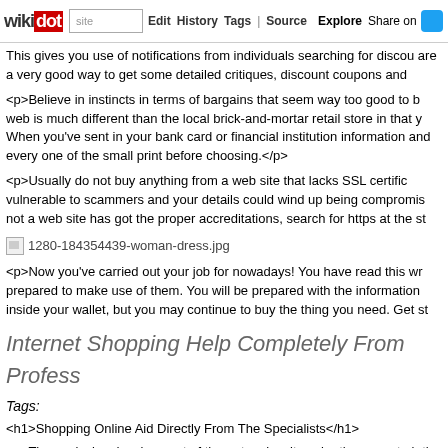wikidot | site | Edit | History | Tags | Source | Explore | Share on Twitter
This gives you use of notifications from individuals searching for discou are a very good way to get some detailed critiques, discount coupons and
<p>Believe in instincts in terms of bargains that seem way too good to b web is much different than the local brick-and-mortar retail store in that y When you've sent in your bank card or financial institution information and every one of the small print before choosing.</p>
<p>Usually do not buy anything from a web site that lacks SSL certific vulnerable to scammers and your details could wind up being compromis not a web site has got the proper accreditations, search for https at the st
[Figure (other): Broken image placeholder for 1280-184354439-woman-dress.jpg]
<p>Now you've carried out your job for nowadays! You have read this wr prepared to make use of them. You will be prepared with the information inside your wallet, but you may continue to buy the thing you need. Get st
Internet Shopping Help Completely From Profess
Tags:
<h1>Shopping Online Aid Directly From The Specialists</h1>
<p>The explosive development of the net makes it easier than ever to b the globe. Nonetheless, it can be hard to know just where to search for th suggestions for your next shopping online journey, please read on.</p>
<p>While looking across a new on-line shop, read through above their te